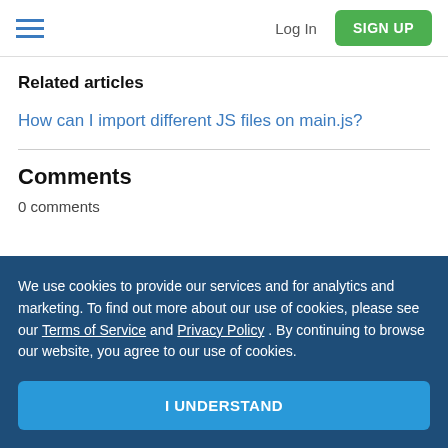Log In | SIGN UP
Related articles
How can I import different JS files on main.js?
Comments
0 comments
We use cookies to provide our services and for analytics and marketing. To find out more about our use of cookies, please see our Terms of Service and Privacy Policy . By continuing to browse our website, you agree to our use of cookies.
I UNDERSTAND